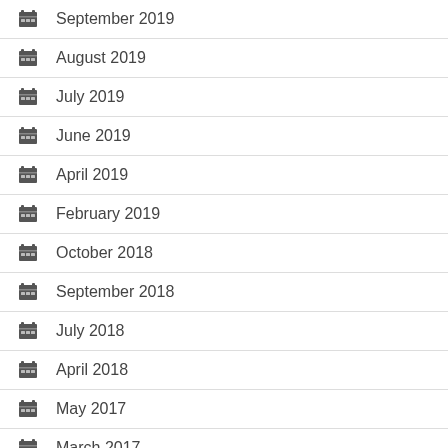September 2019
August 2019
July 2019
June 2019
April 2019
February 2019
October 2018
September 2018
July 2018
April 2018
May 2017
March 2017